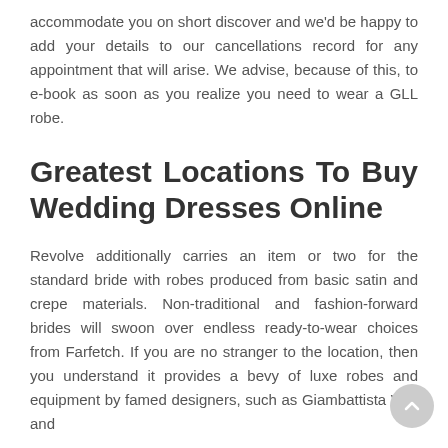accommodate you on short discover and we'd be happy to add your details to our cancellations record for any appointment that will arise. We advise, because of this, to e-book as soon as you realize you need to wear a GLL robe.
Greatest Locations To Buy Wedding Dresses Online
Revolve additionally carries an item or two for the standard bride with robes produced from basic satin and crepe materials. Non-traditional and fashion-forward brides will swoon over endless ready-to-wear choices from Farfetch. If you are no stranger to the location, then you understand it provides a bevy of luxe robes and equipment by famed designers, such as Giambattista Valli and